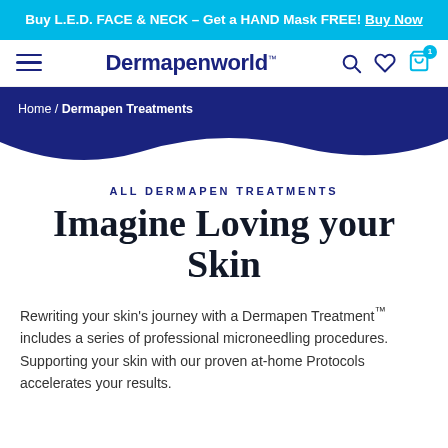Buy L.E.D. FACE & NECK – Get a HAND Mask FREE! Buy Now
[Figure (screenshot): Website navigation bar with hamburger menu, Dermapenworld logo, search icon, heart/wishlist icon, and cart icon with badge showing 1 item]
[Figure (illustration): Dark blue wave shape forming a banner with breadcrumb navigation: Home / Dermapen Treatments]
ALL DERMAPEN TREATMENTS
Imagine Loving your Skin
Rewriting your skin's journey with a Dermapen Treatment™ includes a series of professional microneedling procedures. Supporting your skin with our proven at-home Protocols accelerates your results.